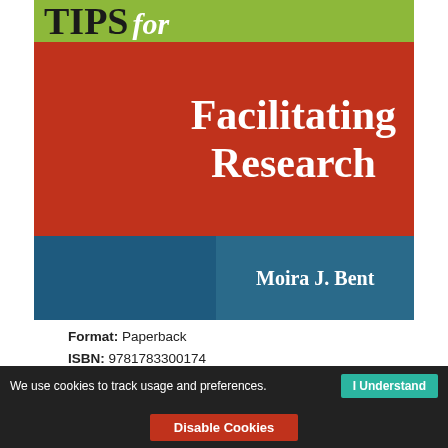[Figure (illustration): Book cover for 'Tips for Facilitating Research' by Moira J. Bent. Top band is olive/yellow-green with 'TIPS' in large black serif font and 'for' in white italic. Large red section shows 'Facilitating Research' in white serif bold text. Bottom section split into two dark blue panels, right panel shows author name 'Moira J. Bent' in white serif font.]
Format: Paperback
ISBN: 9781783300174
Published: 16th Mar 2016
We use cookies to track usage and preferences.  I Understand
Disable Cookies